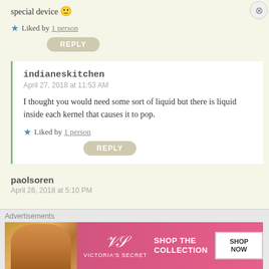special device 🙂
★ Liked by 1 person
REPLY
indianeskitchen
April 27, 2018 at 11:53 AM
I thought you would need some sort of liquid but there is liquid inside each kernel that causes it to pop.
★ Liked by 1 person
REPLY
paolsoren
April 26, 2018 at 5:10 PM
Advertisements
[Figure (photo): Victoria's Secret advertisement banner with model and 'SHOP THE COLLECTION' text and 'SHOP NOW' button]